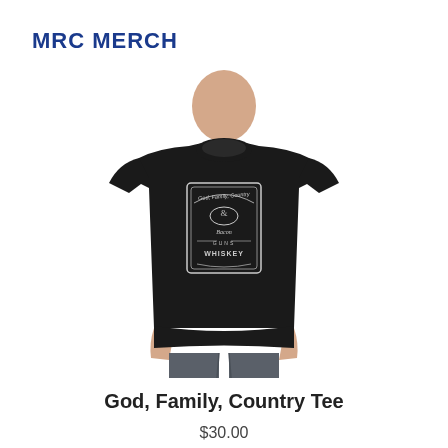MRC MERCH
[Figure (photo): A young man wearing a black t-shirt with a graphic design reading 'God, Family, Country & Bacon Guns Whiskey' styled like a whiskey label, wearing dark jeans.]
God, Family, Country Tee
$30.00